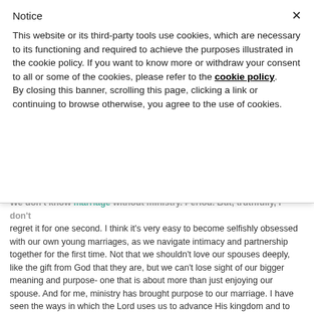Notice
This website or its third-party tools use cookies, which are necessary to its functioning and required to achieve the purposes illustrated in the cookie policy. If you want to know more or withdraw your consent to all or some of the cookies, please refer to the cookie policy.
By closing this banner, scrolling this page, clicking a link or continuing to browse otherwise, you agree to the use of cookies.
We don't know marriage without ministry. Period. But, truthfully, I don't regret it for one second. I think it's very easy to become selfishly obsessed with our own young marriages, as we navigate intimacy and partnership together for the first time. Not that we shouldn't love our spouses deeply, like the gift from God that they are, but we can't lose sight of our bigger meaning and purpose- one that is about more than just enjoying our spouse. And for me, ministry has brought purpose to our marriage. I have seen the ways in which the Lord uses us to advance His kingdom and to bless others. I have truly gotten a glimpse of how we are stronger together than we are apart. I have held back tears as we lead fifty plus high school kids in worship. I